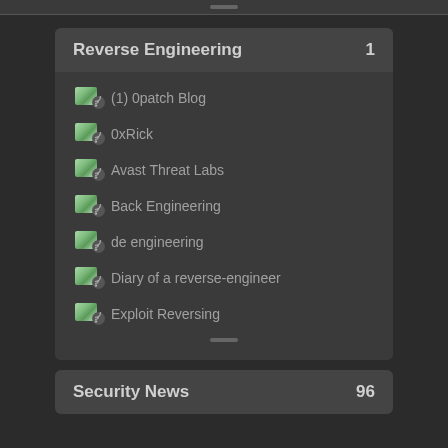Reverse Engineering 1
(1) 0patch Blog
0xRick
Avast Threat Labs
Back Engineering
de engineering
Diary of a reverse-engineer
Exploit Reversing
Security News 96